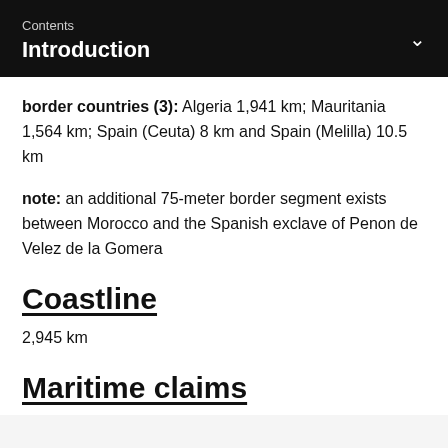Contents
Introduction
border countries (3): Algeria 1,941 km; Mauritania 1,564 km; Spain (Ceuta) 8 km and Spain (Melilla) 10.5 km
note: an additional 75-meter border segment exists between Morocco and the Spanish exclave of Penon de Velez de la Gomera
Coastline
2,945 km
Maritime claims